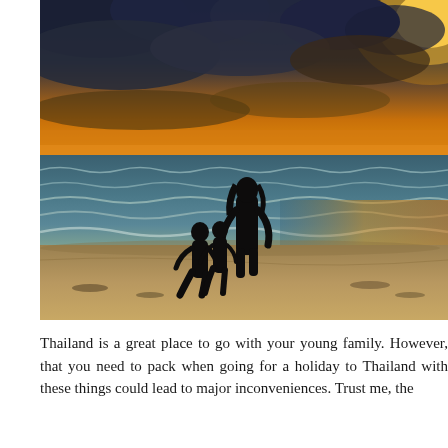[Figure (photo): Silhouettes of a woman and two small children standing on a beach at dramatic sunset. Dark storm clouds dominate the sky with golden-orange light breaking through on the horizon. Rough ocean waves in the background.]
Thailand is a great place to go with your young family. However, that you need to pack when going for a holiday to Thailand with these things could lead to major inconveniences. Trust me, the